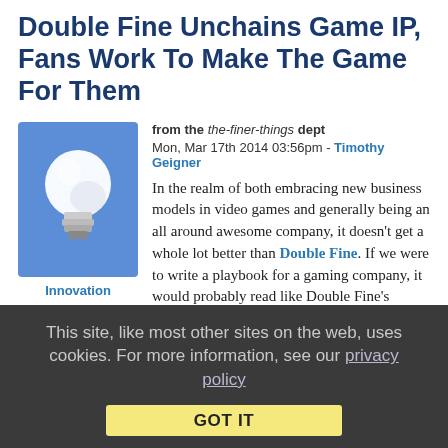Double Fine Unchains Game IP, Fans Work To Make The Game For Them
from the the-finer-things dept
Mon, Mar 17th 2014 03:56pm - Timothy Geigner
[Figure (illustration): Light bulb icon on blue background, with 'Innovation' label below]
In the realm of both embracing new business models in video games and generally being an all around awesome company, it doesn't get a whole lot better than Double Fine. If we were to write a playbook for a gaming company, it would probably read like Double Fine's history, from producing enormously entertaining games, to embracing crowd-funding models, to treating their fans in a manner too rare in their industry.
Reader Leo Loikkanen writes in about the latest example of the company's impressive actions, which involve an attempted game
This site, like most other sites on the web, uses cookies. For more information, see our privacy policy
GOT IT